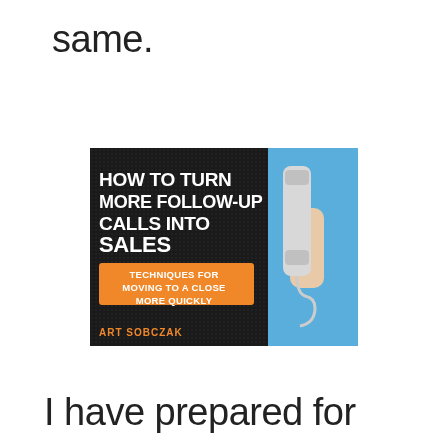same.
[Figure (illustration): Book cover: 'How to Turn More Follow-Up Calls Into Sales' by Art Sobczak. Dark/black textured left panel with white bold title text and orange banner reading 'TECHNIQUES FOR MOVING TO A CLOSE MORE QUICKLY'. Right panel is blue with a hand holding a white telephone handset.]
I have prepared for